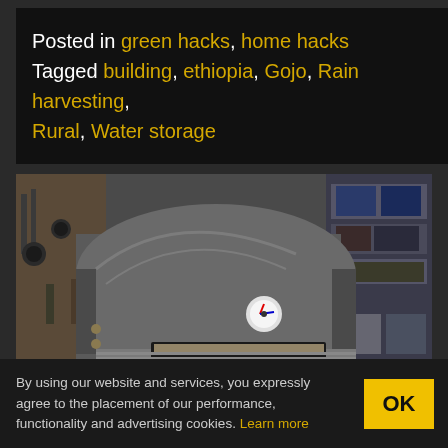Posted in green hacks, home hacks
Tagged building, ethiopia, Gojo, Rain harvesting, Rural, Water storage
[Figure (photo): A metallic homemade pizza or wood-fired oven with a domed cylindrical body, a temperature gauge on the front, and an open slot at the bottom, sitting in a workshop with tools and shelves in the background.]
By using our website and services, you expressly agree to the placement of our performance, functionality and advertising cookies. Learn more